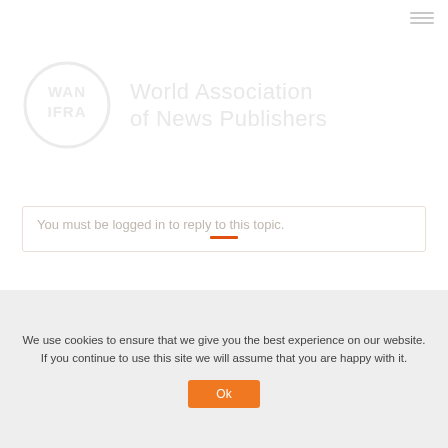[Figure (logo): WAN-IFRA World Association of News Publishers logo — circular badge with WAN IFRA text alongside full organization name]
You must be logged in to reply to this topic.
Username
We use cookies to ensure that we give you the best experience on our website. If you continue to use this site we will assume that you are happy with it.
Ok